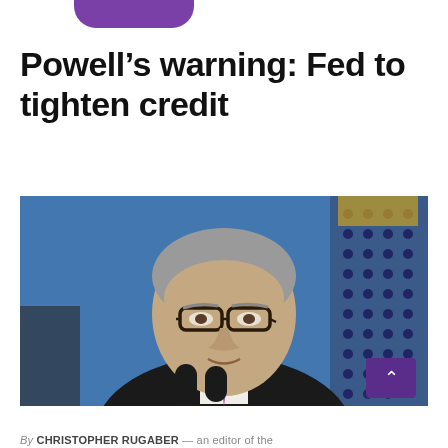[Figure (logo): Purple rounded rectangle shape at top center, partially cropped, suggesting a logo or app icon]
Powell's warning: Fed to tighten credit
[Figure (photo): Photo of Jerome Powell, Federal Reserve Chairman, speaking at a podium with microphones, wearing a black suit and purple tie, with a blue background and American flag visible]
By CHRISTOPHER RUGABER — an editor of the